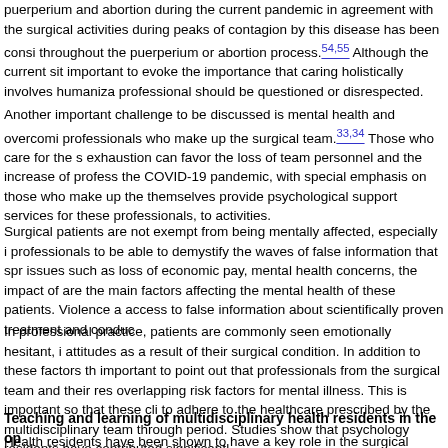puerperium and abortion during the current pandemic in agreement with the surgical activities during peaks of contagion by this disease has been considered throughout the puerperium or abortion process.[54,55] Although the current situation is important to evoke the importance that caring holistically involves humanization and no professional should be questioned or disrespected.
Another important challenge to be discussed is mental health and overcoming of the professionals who make up the surgical team.[33,34] Those who care for the sick with exhaustion can favor the loss of team personnel and the increase of professional errors in the COVID-19 pandemic, with special emphasis on those who make up the team to themselves provide psychological support services for these professionals, in addition to activities.
Surgical patients are not exempt from being mentally affected, especially in requiring professionals to be able to demystify the waves of false information that spread. Social issues such as loss of economic pay, mental health concerns, the impact of isolation are the main factors affecting the mental health of these patients. Violence and access to false information about scientifically proven treatment and conduct.
In professional practice, patients are commonly seen emotionally hesitant, in negative attitudes as a result of their surgical condition. In addition to these factors that are important to point out that professionals from the surgical team and their responsibilities overlapping risk factors for mental illness. This is important so that these clients are able to adhere to the healthcare prescribed by the multidisciplinary team throughout the period. Studies show that psychology residents have contributed significantly.
Teaching and learning of multidisciplinary health residents in the op
Health residents have been shown to have a key role in the surgical